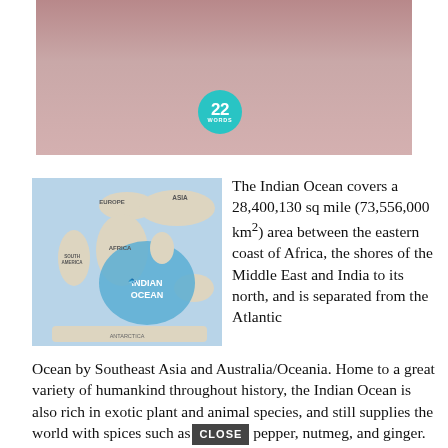[Figure (photo): Partial view of a person wearing a mauve/dusty pink puffy jacket, cropped at neck level. A '22 Words' teal circular logo badge is overlaid in the center.]
[Figure (map): World map with Indian Ocean highlighted in blue. Labels include EUROPE, ASIA, AFRICA, SOUTH AMERICA, INDIAN OCEAN, ANTARCTICA.]
The Indian Ocean covers a 28,400,130 sq mile (73,556,000 km²) area between the eastern coast of Africa, the shores of the Middle East and India to its north, and is separated from the Atlantic Ocean by Southeast Asia and Australia/Oceania. Home to a great variety of humankind throughout history, the Indian Ocean is also rich in exotic plant and animal species, and still supplies the world with spices such as pepper, nutmeg, and ginger. While these spices are now used primarily to flavor the world's